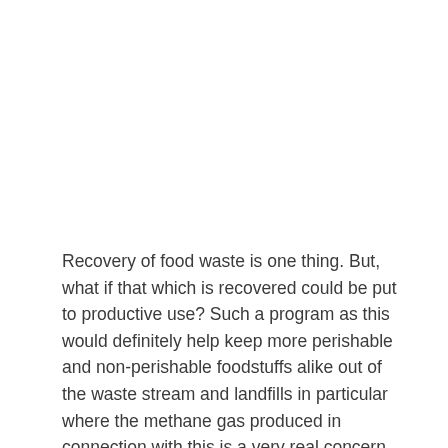Recovery of food waste is one thing. But, what if that which is recovered could be put to productive use? Such a program as this would definitely help keep more perishable and non-perishable foodstuffs alike out of the waste stream and landfills in particular where the methane gas produced in connection with this is a very real concern.